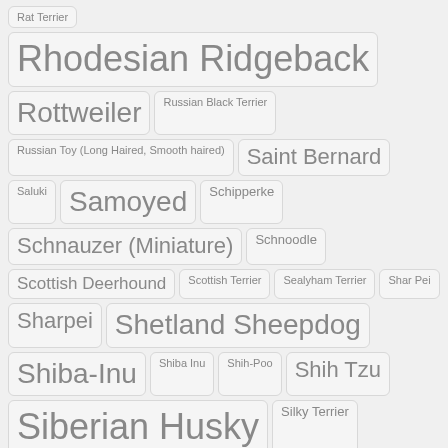[Figure (infographic): Tag cloud of dog breed names with varying font sizes indicating popularity/frequency. Breeds listed include: Rat Terrier, Rhodesian Ridgeback, Rottweiler, Russian Black Terrier, Russian Toy (Long Haired, Smooth haired), Saint Bernard, Saluki, Samoyed, Schipperke, Schnauzer (Miniature), Schnoodle, Scottish Deerhound, Scottish Terrier, Sealyham Terrier, Shar Pei, Sharpei, Shetland Sheepdog, Shiba-Inu, Shiba Inu, Shih-Poo, Shih Tzu, Siberian Husky, Silky Terrier, Skye Terrier, Sloughi, Soft Coated Wheaten Terrier, Soft Coated Wheaten Terriers, Spanish Mastiff, Spanish Water Dog, Spinone Italiano, Spoodle, Staffordshire Bull Terrier, Standard Schnauzer, St Bernard, Sussex Spaniel, Swedish Lapphund, Swedish Vallhund, Sweedish Vallhund, Tatra Shepherd Dog, Tenterfield Terrier, Thai Ridgeback, Tibetan Mastiff]